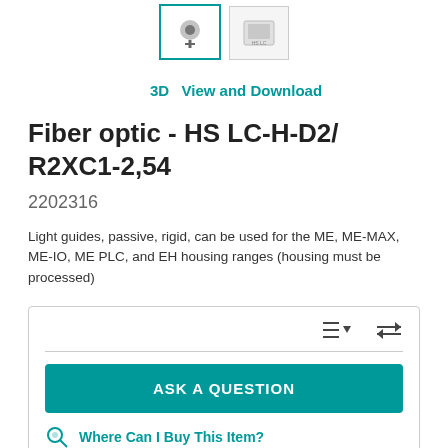[Figure (photo): Two product thumbnail images at top: first thumbnail with teal border (selected), second thumbnail with gray border showing product]
3D   View and Download
Fiber optic - HS LC-H-D2/ R2XC1-2,54
2202316
Light guides, passive, rigid, can be used for the ME, ME-MAX, ME-IO, ME PLC, and EH housing ranges (housing must be processed)
[Figure (screenshot): UI card with sort/filter icons, a horizontal divider, a teal ASK A QUESTION button, and a Where Can I Buy This Item? teal link with icon]